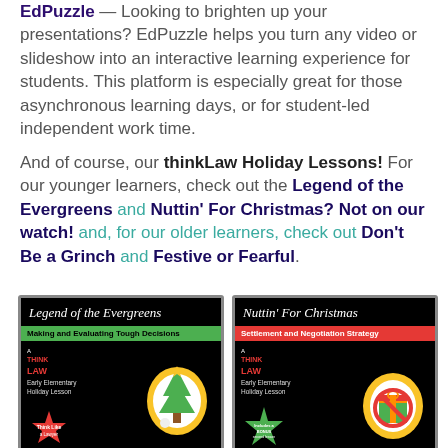EdPuzzle — Looking to brighten up your presentations? EdPuzzle helps you turn any video or slideshow into an interactive learning experience for students. This platform is especially great for those asynchronous learning days, or for student-led independent work time.
And of course, our thinkLaw Holiday Lessons! For our younger learners, check out the Legend of the Evergreens and Nuttin' For Christmas? Not on our watch! and, for our older learners, check out Don't Be a Grinch and Festive or Fearful.
[Figure (photo): Two side-by-side lesson cover images. Left: 'Legend of the Evergreens' - Making and Evaluating Tough Decisions, Early Elementary Holiday Lesson with a Christmas tree illustration and red star. Right: 'Nuttin' For Christmas' - Settlement and Negotiation Strategy, Early Elementary Holiday Lesson with a no-gift symbol and green star.]